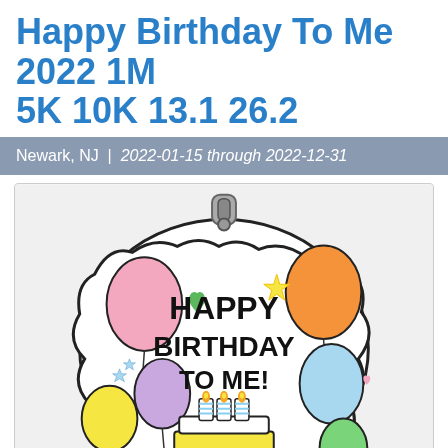Happy Birthday To Me 2022 1M 5K 10K 13.1 26.2
Newark, NJ | 2022-01-15 through 2022-12-31
[Figure (photo): A Happy Birthday medal shaped like a birthday card with balloons, cake with candles, and text 'HAPPY BIRTHDAY TO ME!' — colorful illustration with pink, purple, yellow, orange, light blue, and green balloons around a birthday cake with lit candles on a green base.]